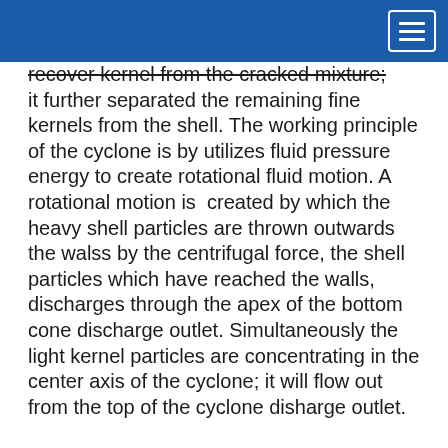recover kernel from the cracked mixture; it further separated the remaining fine kernels from the shell. The working principle of the cyclone is by utilizes fluid pressure energy to create rotational fluid motion. A rotational motion is created by which the heavy shell particles are thrown outwards the walss by the centrifugal force, the shell particles which have reached the walls, discharges through the apex of the bottom cone discharge outlet. Simultaneously the light kernel particles are concentrating in the center axis of the cyclone; it will flow out from the top of the cyclone disharge outlet.